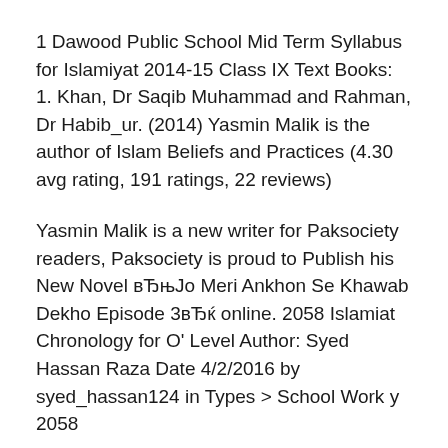1 Dawood Public School Mid Term Syllabus for Islamiyat 2014-15 Class IX Text Books: 1. Khan, Dr Saqib Muhammad and Rahman, Dr Habib_ur. (2014) Yasmin Malik is the author of Islam Beliefs and Practices (4.30 avg rating, 191 ratings, 22 reviews)
Yasmin Malik is a new writer for Paksociety readers, Paksociety is proud to Publish his New Novel вЂњJo Meri Ankhon Se Khawab Dekho Episode 3вЂќ online. 2058 Islamiat Chronology for O' Level Author: Syed Hassan Raza Date 4/2/2016 by syed_hassan124 in Types > School Work y 2058